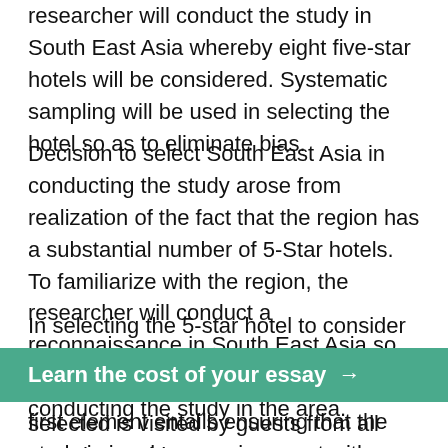researcher will conduct the study in South East Asia whereby eight five-star hotels will be considered. Systematic sampling will be used in selecting the hotel so as to eliminate bias.
Decision to select South East Asia in conducting the study arose from realization of the fact that the region has a substantial number of 5-Star hotels. To familiarize with the region, the researcher will conduct a reconnaissance in South East Asia so as to determine the feasibility of conducting the study in the area.
In selecting the 5-star hotel to consider in undertaking the study, the researcher will consider a number of elements. The first element entails ensuring that the study is in a busy environment with regard to customer base all year [partially obscured] red that the hotel selected is visited by guests from all over the world.